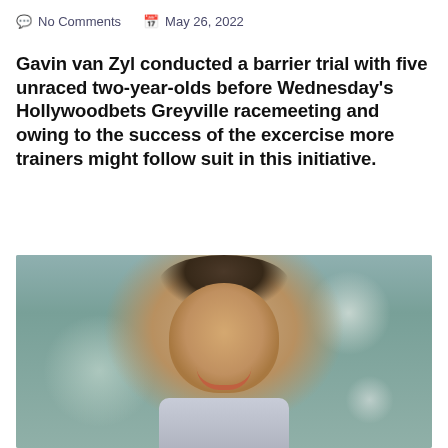No Comments   May 26, 2022
Gavin van Zyl conducted a barrier trial with five unraced two-year-olds before Wednesday's Hollywoodbets Greyville racemeeting and owing to the success of the excercise more trainers might follow suit in this initiative.
[Figure (photo): Portrait photo of Gavin van Zyl, a middle-aged man with short brown hair, smiling, wearing a light grey suit, photographed outdoors with a blurred background.]